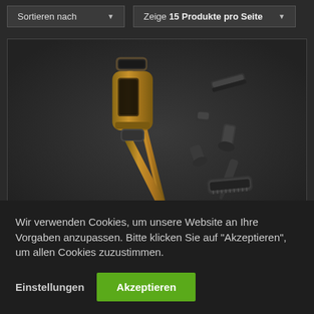Sortieren nach
Zeige 15 Produkte pro Seite
[Figure (photo): Product photo of a cordless stick vacuum cleaner in gold/bronze finish with multiple attachments floating around it on a dark background]
Wir verwenden Cookies, um unsere Website an Ihre Vorgaben anzupassen. Bitte klicken Sie auf "Akzeptieren", um allen Cookies zuzustimmen.
Einstellungen
Akzeptieren